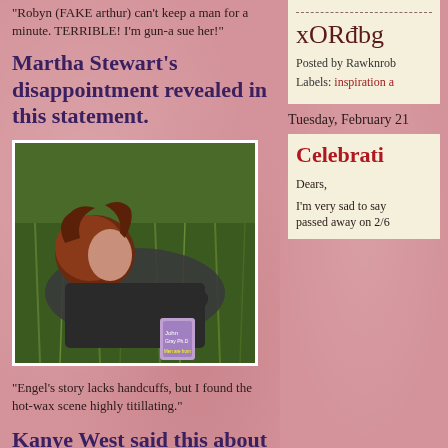"Robyn (FAKE arthur) can't keep a man for a minute. TERRIBLE! I'm gun-a sue her!"
Martha Stewart's disappointment revealed in this statement.
[Figure (photo): Woman with red curly hair lying on grass holding a book]
"Engel's story lacks handcuffs, but I found the hot-wax scene highly titillating."
Kanye West said this about Engel's books.
XORobg
Posted by Rawknrob
Labels: inspiration a
Tuesday, February 21
Celebrati
Dears,
I'm very sad to say passed away on 2/6